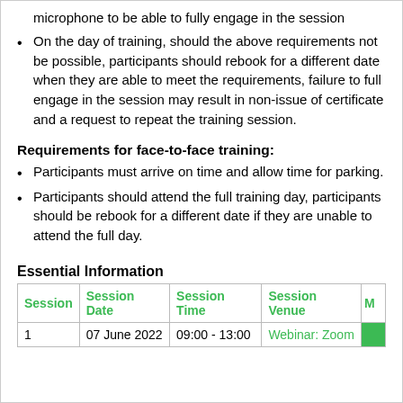microphone to be able to fully engage in the session
On the day of training, should the above requirements not be possible, participants should rebook for a different date when they are able to meet the requirements, failure to full engage in the session may result in non-issue of certificate and a request to repeat the training session.
Requirements for face-to-face training:
Participants must arrive on time and allow time for parking.
Participants should attend the full training day, participants should be rebook for a different date if they are unable to attend the full day.
Essential Information
| Session | Session Date | Session Time | Session Venue | M |
| --- | --- | --- | --- | --- |
| 1 | 07 June 2022 | 09:00 - 13:00 | Webinar: Zoom |  |